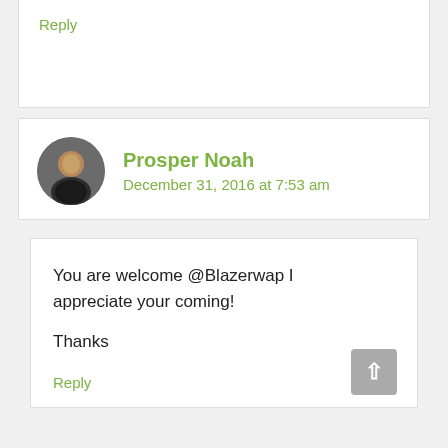Reply
Prosper Noah
December 31, 2016 at 7:53 am
You are welcome @Blazerwap I appreciate your coming!

Thanks
Reply